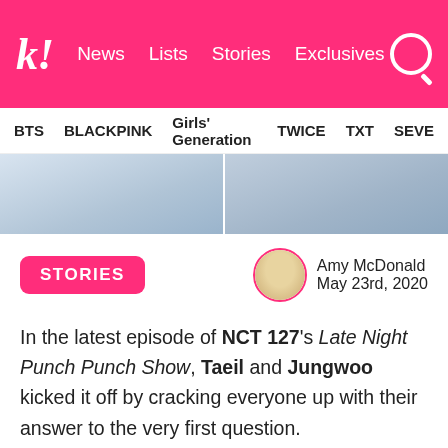k! News Lists Stories Exclusives
BTS BLACKPINK Girls' Generation TWICE TXT SEVE
[Figure (photo): Two photo strips showing people in light-colored clothing]
STORIES
Amy McDonald
May 23rd, 2020
In the latest episode of NCT 127's Late Night Punch Punch Show, Taeil and Jungwoo kicked it off by cracking everyone up with their answer to the very first question.
Host Doyoung thought he would start the quiz battle off with what should have been an easy question, “What’s the title song of Neo Zone : The Final Round?"